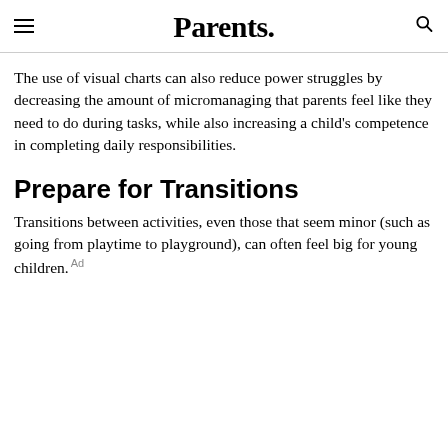Parents.
The use of visual charts can also reduce power struggles by decreasing the amount of micromanaging that parents feel like they need to do during tasks, while also increasing a child's competence in completing daily responsibilities.
Prepare for Transitions
Transitions between activities, even those that seem minor (such as going from playtime to playground), can often feel big for young children.